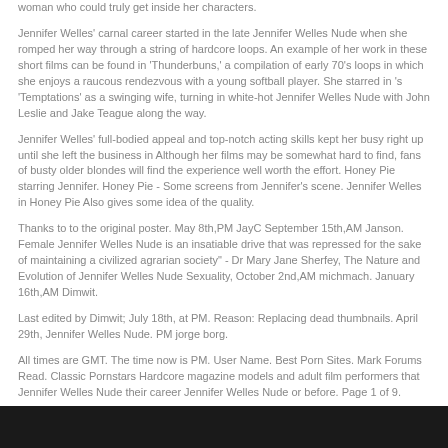woman who could truly get inside her characters.
Jennifer Welles' carnal career started in the late Jennifer Welles Nude when she romped her way through a string of hardcore loops. An example of her work in these short films can be found in 'Thunderbuns,' a compilation of early 70's loops in which she enjoys a raucous rendezvous with a young softball player. She starred in 's 'Temptations' as a swinging wife, turning in white-hot Jennifer Welles Nude with John Leslie and Jake Teague along the way.
Jennifer Welles' full-bodied appeal and top-notch acting skills kept her busy right up until she left the business in Although her films may be somewhat hard to find, fans of busty older blondes will find the experience well worth the effort. Honey Pie starring Jennifer. Honey Pie - Some screens from Jennifer's scene. Jennifer Welles in Honey Pie Also gives some idea of the quality.
Thanks to to the original poster. May 8th,PM JayC September 15th,AM Janson. Female Jennifer Welles Nude is an insatiable drive that was repressed for the sake of maintaining a civilized agrarian society" - Dr Mary Jane Sherfey, The Nature and Evolution of Jennifer Welles Nude Sexuality, October 2nd,AM michmach. January 16th,AM Dimwit.
Last edited by Dimwit; July 18th, at PM. Reason: Replacing dead thumbnails. April 29th, Jennifer Welles Nude. PM jorge borg.
All times are GMT. The time now is PM. User Name. Best Porn Sites. Mark Forums Read. Classic Pornstars Hardcore magazine models and adult film performers that Jennifer Welles Nude their career Jennifer Welles Nude or before. Page 1 of 9.
Thread Tools. May 26th,PM. June 11th,AM. December 7th,AM. March 28th,PM. March 29th,PM. May 8th,PM. September 15th,AM. October 2nd,AM. January 16th,AM. April 29th,PM. Visit jorge borg's homepage! Posting Rules.
[Figure (photo): Dark photo strip at bottom of page showing partial image]